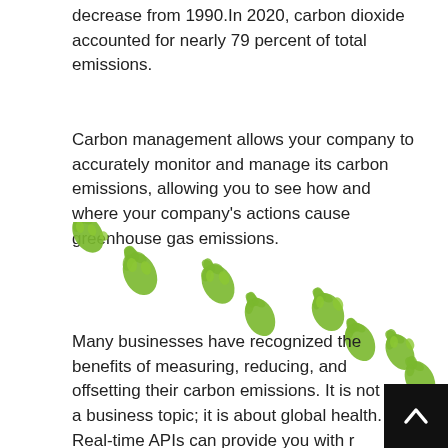decrease from 1990.In 2020, carbon dioxide accounted for nearly 79 percent of total emissions.
Carbon management allows your company to accurately monitor and manage its carbon emissions, allowing you to see how and where your company's actions cause greenhouse gas emissions.
[Figure (illustration): A diagonal trail of green leaf-shaped footprints going from top-left to bottom-right, representing a carbon footprint illustration.]
Many businesses have recognized the benefits of measuring, reducing, and offsetting their carbon emissions. It is not only a business topic; it is about global health. Real-time APIs can provide you with r...